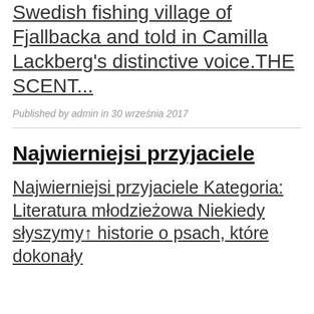Swedish fishing village of Fjallbacka and told in Camilla Lackberg's distinctive voice.THE SCENT...
Published by admin in 30 września 2017
Najwierniejsi przyjaciele
Najwierniejsi przyjaciele Kategoria: Literatura młodzieżowa Niekiedy słyszymy ↑ historie o psach, które dokonały